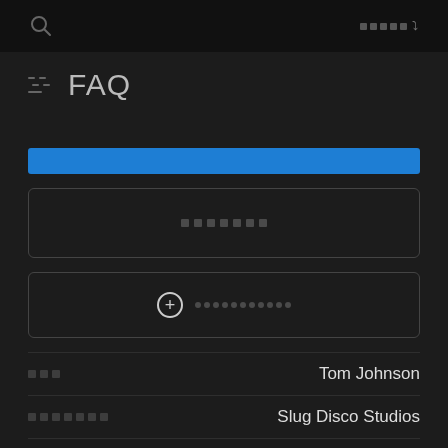[Figure (screenshot): Dark UI screenshot showing an FAQ page with search icon, dropdown, blue banner, buttons, and data rows for Tom Johnson / Slug Disco Studios / 21/12/07]
FAQ
Tom Johnson
Slug Disco Studios
21/12/07